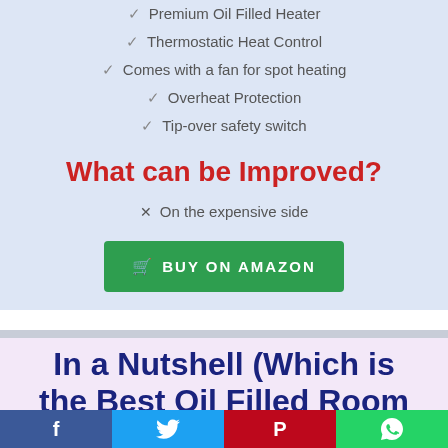✓ Premium Oil Filled Heater
✓ Thermostatic Heat Control
✓ Comes with a fan for spot heating
✓ Overheat Protection
✓ Tip-over safety switch
What can be Improved?
× On the expensive side
BUY ON AMAZON
In a Nutshell (Which is the Best Oil Filled Room